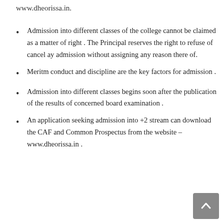www.dheorissa.in.
Admission into different classes of the college cannot be claimed as a matter of right . The Principal reserves the right to refuse of cancel ay admission without assigning any reason there of.
Meritm conduct and discipline are the key factors for admission .
Admission into different classes begins soon after the publication of the results of concerned board examination .
An application seeking admission into +2 stream can download the CAF and Common Prospectus from the website – www.dheorissa.in .